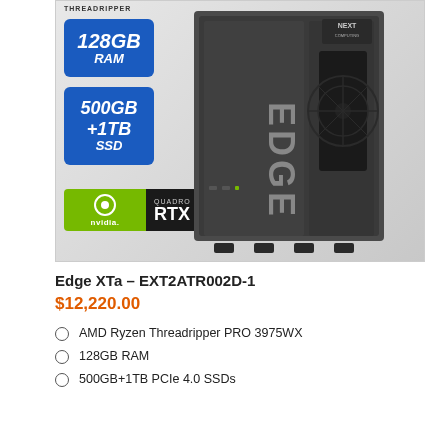[Figure (photo): Product photo of Edge XTa computer tower with spec badges: 128GB RAM, 500GB+1TB SSD, Nvidia Quadro RTX, AMD Threadripper branding]
Edge XTa – EXT2ATR002D-1
$12,220.00
AMD Ryzen Threadripper PRO 3975WX
128GB RAM
500GB+1TB PCIe 4.0 SSDs